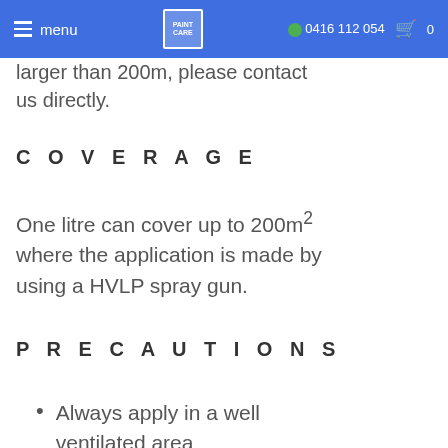menu  [logo]  0416 112 054  [cart] 0
larger than 200m, please contact us directly.
COVERAGE
One litre can cover up to 200m² where the application is made by using a HVLP spray gun.
PRECAUTIONS
Always apply in a well ventilated area